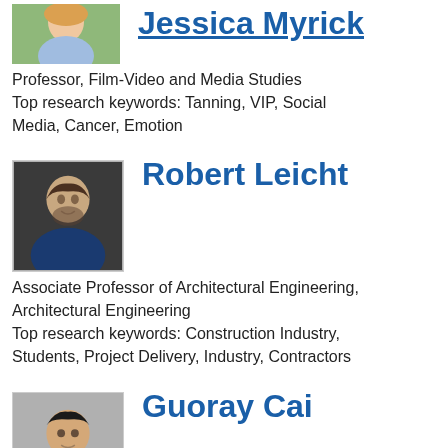[Figure (photo): Headshot photo of a woman with blond hair, smiling, outdoors]
Jessica Myrick (partial, top cut off)
Professor, Film-Video and Media Studies
Top research keywords: Tanning, VIP, Social Media, Cancer, Emotion
[Figure (photo): Headshot photo of a man with dark beard wearing a blue shirt]
Robert Leicht
Associate Professor of Architectural Engineering, Architectural Engineering
Top research keywords: Construction Industry, Students, Project Delivery, Industry, Contractors
[Figure (photo): Headshot photo of an Asian man in a gray jacket]
Guoray Cai
Associate Professor, College of Information Sciences and Technology
Top research keywords: Geographic Information